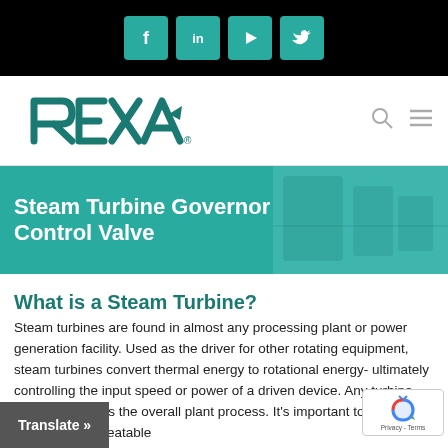Social media icons: Facebook, LinkedIn, YouTube, Twitter
[Figure (logo): REXA logo in teal/dark teal color with stylized letters]
Steam Turbine Governor Control Valve
What is a Steam Turbine?
Steam turbines are found in almost any processing plant or power generation facility. Used as the driver for other rotating equipment, steam turbines convert thermal energy to rotational energy- ultimately controlling the input speed or power of a driven device. Any turbine downtime affects the overall plant process. It's important to maintain reliable and repeatable